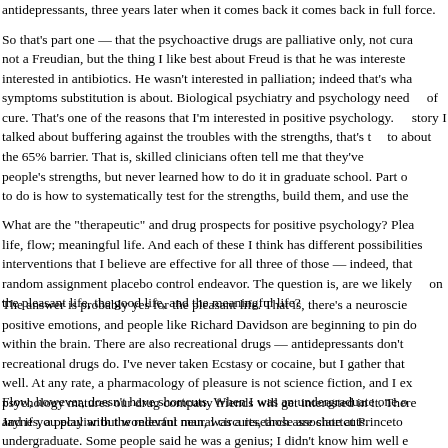antidepressants, three years later when it comes back it comes back in full force. So that's part one — that the psychoactive drugs are palliative only, not curative. I'm not a Freudian, but the thing I like best about Freud is that he was interested in cure, not interested in antibiotics. He wasn't interested in palliation; indeed that's what symptoms substitution is about. Biological psychiatry and psychology need to think in terms of cure. That's one of the reasons that I'm interested in positive psychology. In the first part of the story I talked about buffering against the troubles with the strengths, that's the barrier, to about the 65% barrier. That is, skilled clinicians often tell me that they've wanted to use people's strengths, but never learned how to do it in graduate school. Part of what we need to do is how to systematically test for the strengths, build them, and use them.
What are the "therapeutic" and drug prospects for positive psychology? Pleasant life, flow; meaningful life. And each of these I think has different possibilities. There are interventions that I believe are effective for all three of those — indeed, that can pass random assignment placebo control endeavor. The question is, are we likely to have drugs on the pleasant life, the good life, and the meaningful life?
The answer is probably yes for the pleasant life. That is, there's a neuroscience of positive emotions, and people like Richard Davidson are beginning to pin down the circuits within the brain. There are also recreational drugs — antidepressants don't work, but recreational drugs do. I've never taken Ecstasy or cocaine, but I gather that they work pretty well. At any rate, a pharmacology of pleasure is not science fiction, and I expect as positive psychology matures our drug company friends will get interested in it. There are shortcuts, and if you play with the relevant neural circuits, those are shortcuts.
Flow, however, doesn't have shortcuts. When I was an undergraduate one of my teachers, Jaynes, a peculiar but wonderful man, was a research associate at Princeton when I was an undergraduate. Some people said he was a genius; I didn't know him well enough. He was given a South American lizard as a laboratory pet, and the problem about th